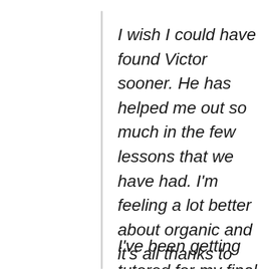I wish I could have found Victor sooner. He has helped me out so much in the few lessons that we have had. I'm feeling a lot better about organic and it's all thanks to him.
– Samantha, University of Southern Alabama
I've been getting tutored for my final exam for Ochem III and Victor has